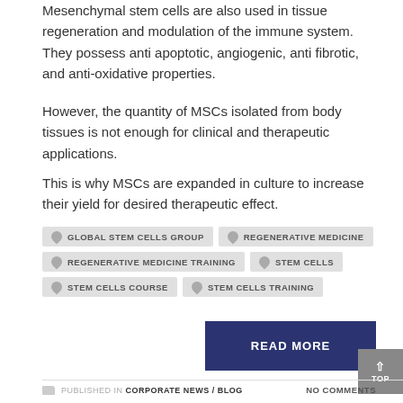Mesenchymal stem cells are also used in tissue regeneration and modulation of the immune system. They possess anti apoptotic, angiogenic, anti fibrotic, and anti-oxidative properties.
However, the quantity of MSCs isolated from body tissues is not enough for clinical and therapeutic applications.
This is why MSCs are expanded in culture to increase their yield for desired therapeutic effect.
GLOBAL STEM CELLS GROUP
REGENERATIVE MEDICINE
REGENERATIVE MEDICINE TRAINING
STEM CELLS
STEM CELLS COURSE
STEM CELLS TRAINING
READ MORE
PUBLISHED IN CORPORATE NEWS / BLOG NO COMMENTS